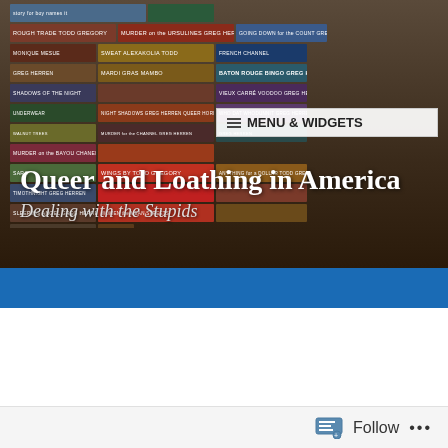[Figure (photo): Header image showing stacked book spines of various novels, overlaid with site title and subtitle text, and a menu widget box in the upper right.]
Queer and Loathing in America
Dealing with the Stupids
Category: Alabama
Annabel Lee
Follow ...